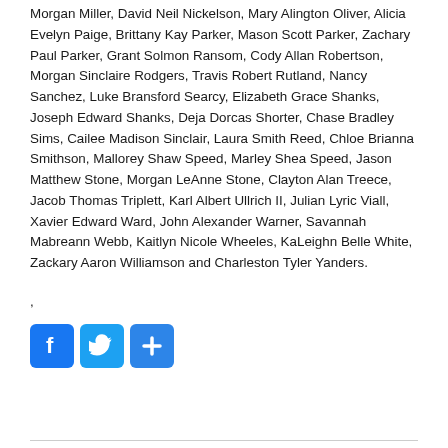Morgan Miller, David Neil Nickelson, Mary Alington Oliver, Alicia Evelyn Paige, Brittany Kay Parker, Mason Scott Parker, Zachary Paul Parker, Grant Solmon Ransom, Cody Allan Robertson, Morgan Sinclaire Rodgers, Travis Robert Rutland, Nancy Sanchez, Luke Bransford Searcy, Elizabeth Grace Shanks, Joseph Edward Shanks, Deja Dorcas Shorter, Chase Bradley Sims, Cailee Madison Sinclair, Laura Smith Reed, Chloe Brianna Smithson, Mallorey Shaw Speed, Marley Shea Speed, Jason Matthew Stone, Morgan LeAnne Stone, Clayton Alan Treece, Jacob Thomas Triplett, Karl Albert Ullrich II, Julian Lyric Viall, Xavier Edward Ward, John Alexander Warner, Savannah Mabreann Webb, Kaitlyn Nicole Wheeles, KaLeighn Belle White, Zackary Aaron Williamson and Charleston Tyler Yanders.
,
[Figure (other): Social media share buttons: Facebook (blue), Twitter (blue), and a plus/share button (blue)]